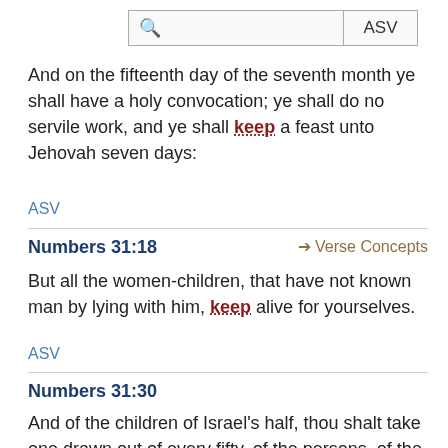[Figure (screenshot): Search bar with magnifying glass icon and ASV version selector button]
And on the fifteenth day of the seventh month ye shall have a holy convocation; ye shall do no servile work, and ye shall keep a feast unto Jehovah seven days:
ASV
Numbers 31:18
Verse Concepts
But all the women-children, that have not known man by lying with him, keep alive for yourselves.
ASV
Numbers 31:30
And of the children of Israel's half, thou shalt take one drawn out of every fifty, of the persons, of the oxen, of the asses, and of the flocks, even of all the cattle, and give them unto the Levites, that keep the charge of the tabernacle of Jehovah.
ASV